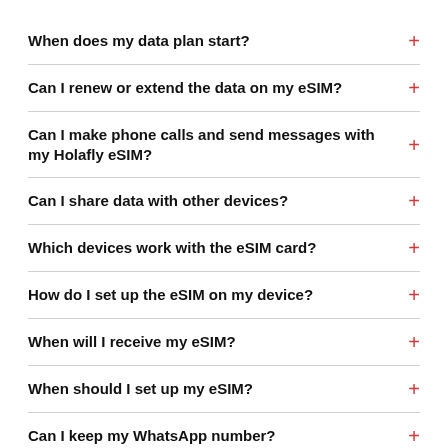When does my data plan start?
Can I renew or extend the data on my eSIM?
Can I make phone calls and send messages with my Holafly eSIM?
Can I share data with other devices?
Which devices work with the eSIM card?
How do I set up the eSIM on my device?
When will I receive my eSIM?
When should I set up my eSIM?
Can I keep my WhatsApp number?